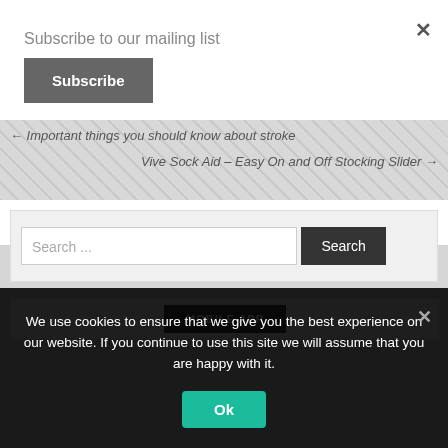Subscribe to our mailing list
Subscribe
← Important things you should know about stroke
Vive Sock Aid – Easy On and Off Stocking Slider →
Search ...
Search
MOBILE APP
We use cookies to ensure that we give you the best experience on our website. If you continue to use this site we will assume that you are happy with it.
Ok